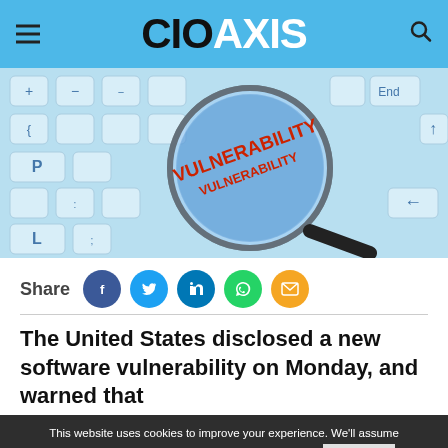CIOAXIS
[Figure (photo): A magnifying glass over a computer keyboard with the word VULNERABILITY shown in red text through the lens]
Share
The United States disclosed a new software vulnerability on Monday, and warned that
This website uses cookies to improve your experience. We'll assume you're ok with this, but you can opt-out if you wish. Close
Read More